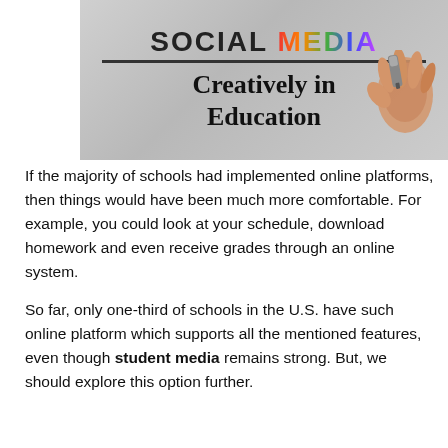[Figure (illustration): Image showing text 'SOCIAL MEDIA Creatively in Education' written on a whiteboard, with a hand holding a marker in the background. The words 'SOCIAL' appear in black and 'MEDIA' in colorful letters.]
If the majority of schools had implemented online platforms, then things would have been much more comfortable. For example, you could look at your schedule, download homework and even receive grades through an online system.
So far, only one-third of schools in the U.S. have such online platform which supports all the mentioned features, even though student media remains strong. But, we should explore this option further.